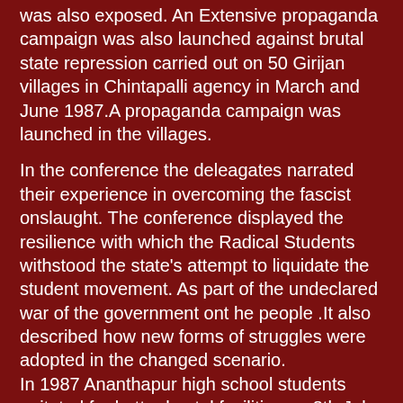was also exposed. An Extensive propaganda campaign was also launched against brutal state repression carried out on 50 Girijan villages in Chintapalli agency in March and June 1987.A propaganda campaign was launched in the villages.
In the conference the deleagates narrated their experience in overcoming the fascist onslaught. The conference displayed the resilience with which the Radical Students withstood the state's attempt to liquidate the student movement. As part of the undeclared war of the government ont he people .It also described how new forms of struggles were adopted in the changed scenario. In 1987 Ananthapur high school students agitated for better hostel facilities on 8th July.
. In 1988 and 1999 APRSU launched struggles of issues like BC Scholarshiops,,opposing closing of BC hostels, canceling of loans of peasants, opposing the